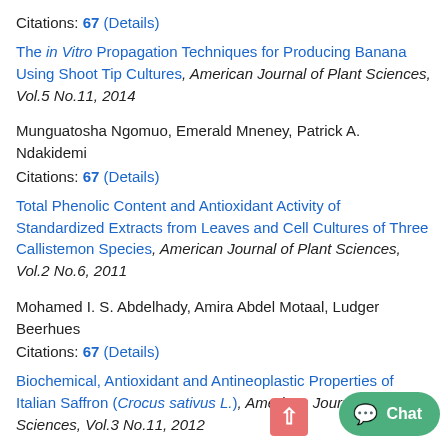Citations: 67 (Details)
The in Vitro Propagation Techniques for Producing Banana Using Shoot Tip Cultures, American Journal of Plant Sciences, Vol.5 No.11, 2014
Munguatosha Ngomuo, Emerald Mneney, Patrick A. Ndakidemi
Citations: 67 (Details)
Total Phenolic Content and Antioxidant Activity of Standardized Extracts from Leaves and Cell Cultures of Three Callistemon Species, American Journal of Plant Sciences, Vol.2 No.6, 2011
Mohamed I. S. Abdelhady, Amira Abdel Motaal, Ludger Beerhues
Citations: 67 (Details)
Biochemical, Antioxidant and Antineoplastic Properties of Italian Saffron (Crocus sativus L.), American Journal of Plant Sciences, Vol.3 No.11, 2012
Angelo Gismondi, Mariagiovanna Serio, Lorena Canuti, Antonella...